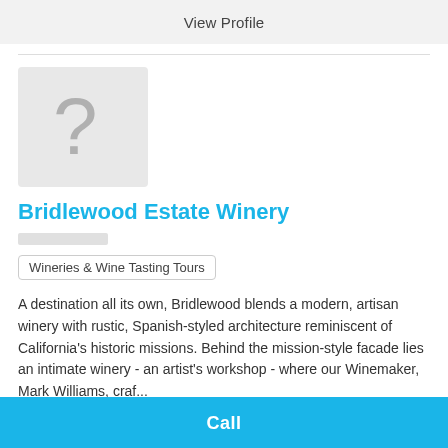View Profile
[Figure (illustration): Gray placeholder image with a question mark icon]
Bridlewood Estate Winery
Wineries & Wine Tasting Tours
A destination all its own, Bridlewood blends a modern, artisan winery with rustic, Spanish-styled architecture reminiscent of California's historic missions. Behind the mission-style facade lies an intimate winery - an artist's workshop - where our Winemaker, Mark Williams, craf...
Address:
3555 Roblar Ave Santa Ynez, CA
Phone:
(805) 688-9000
Call